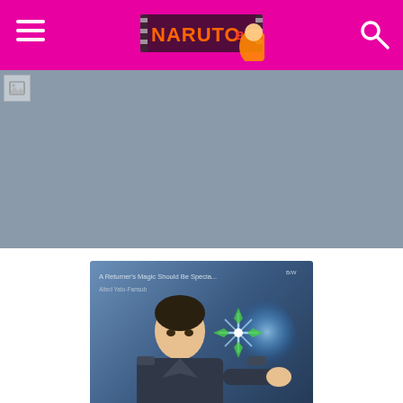NARUTOB (website header with hamburger menu and search icon)
[Figure (photo): Gray banner/hero image area with a small thumbnail icon in the top left]
[Figure (illustration): Korean manga/manhwa book cover: 귀환자의 마법은 특별해야 합니다 (A Returner's Magic Should Be Special). Shows a young man in dark uniform with magical glowing effects. Text includes English subtitle 'A Returner's Magic Should Be Special' and 'Alted Yato-Fansub'.]
9.44 (10)